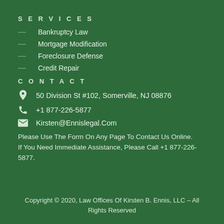SERVICES
Bankruptcy Law
Mortgage Modification
Foreclosure Defense
Credit Repair
CONTACT
50 Division St #102, Somerville, NJ 08876
+1 877-226-5877
Kirsten@Ennislegal.Com
Please Use The Form On Any Page To Contact Us Online. If You Need Immediate Assistance, Please Call +1 877-226-5877.
Copyright © 2020, Law Offices Of Kirsten B. Ennis, LLC – All Rights Reserved